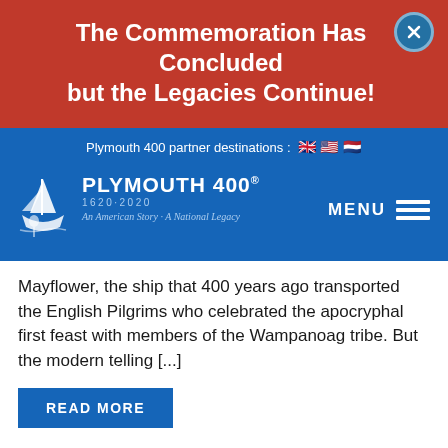The Commemoration Has Concluded but the Legacies Continue!
Plymouth 400 partner destinations : 🇬🇧 🇺🇸 🇳🇱
[Figure (logo): Plymouth 400 logo with sailing ship illustration, text reading PLYMOUTH 400° 1620-2020, tagline An American Story - A National Legacy, and MENU hamburger icon]
Mayflower, the ship that 400 years ago transported the English Pilgrims who celebrated the apocryphal first feast with members of the Wampanoag tribe. But the modern telling [...]
READ MORE